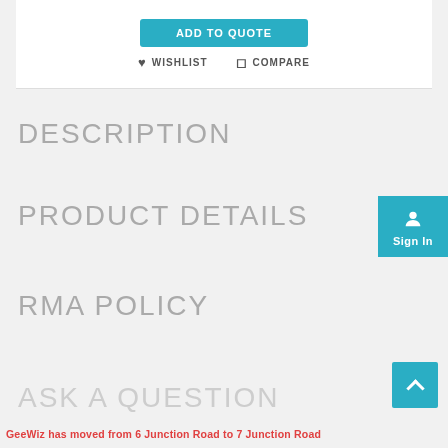[Figure (screenshot): Add to Quote button (teal/cyan) with partial visibility at top]
WISHLIST   COMPARE
DESCRIPTION
PRODUCT DETAILS
RMA POLICY
ASK A QUESTION (partially visible)
[Figure (screenshot): Sign In button (teal) on right side with user/account icon]
[Figure (screenshot): Scroll to top button (teal) with upward arrow, bottom right]
GeeWiz has moved from 6 Junction Road to 7 Junction Road